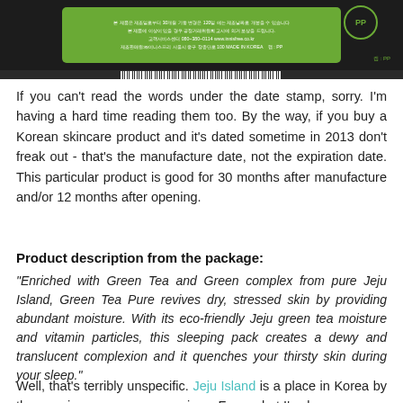[Figure (photo): Photo of the bottom/back of a Korean skincare product (green circular container lid) showing Korean text, a PP recycling symbol, barcode, and manufacturer information on a dark background.]
If you can't read the words under the date stamp, sorry. I'm having a hard time reading them too. By the way, if you buy a Korean skincare product and it's dated sometime in 2013 don't freak out - that's the manufacture date, not the expiration date. This particular product is good for 30 months after manufacture and/or 12 months after opening.
Product description from the package:
"Enriched with Green Tea and Green complex from pure Jeju Island, Green Tea Pure revives dry, stressed skin by providing abundant moisture. With its eco-friendly Jeju green tea moisture and vitamin particles, this sleeping pack creates a dewy and translucent complexion and it quenches your thirsty skin during your sleep."
Well, that's terribly unspecific. Jeju Island is a place in Korea by the way, in case you were curious. From what I've been